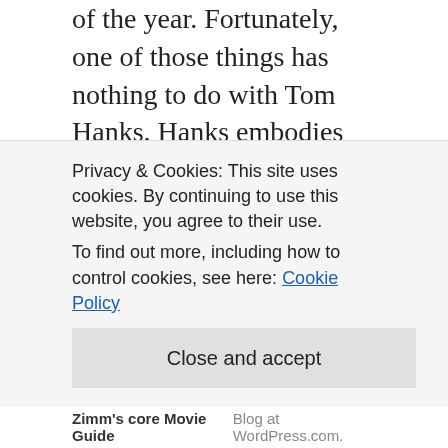of the year. Fortunately, one of those things has nothing to do with Tom Hanks. Hanks embodies the spirit of Rogers in a way I don't think anyone else could. This year, there are so many awards contenders for acting categories, that I've given up guessing who should or will get nominated!
But Hanks, in contrast to giving a perfected impersonation of Rogers, goes deeper and somehow embodies the spirit of Rogers with every handshake and puppet performance he makes on screen. This to me is more difficult than mere impersonation. In fact, I never could get away personally from it being Tom Hanks on
Privacy & Cookies: This site uses cookies. By continuing to use this website, you agree to their use.
To find out more, including how to control cookies, see here: Cookie Policy
Close and accept
Zimm's core Movie Guide | Blog at WordPress.com.